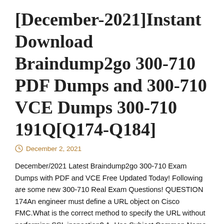[December-2021]Instant Download Braindump2go 300-710 PDF Dumps and 300-710 VCE Dumps 300-710 191Q[Q174-Q184]
December 2, 2021
December/2021 Latest Braindump2go 300-710 Exam Dumps with PDF and VCE Free Updated Today! Following are some new 300-710 Real Exam Questions! QUESTION 174An engineer must define a URL object on Cisco FMC.What is the correct method to specify the URL without performing SSL inspection? A. Use Subject Common Name value.B. Specify all subdomains